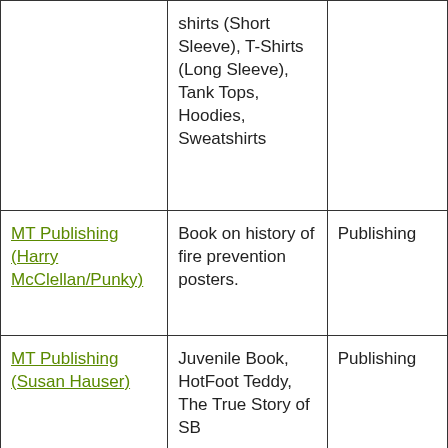|  | shirts (Short Sleeve), T-Shirts (Long Sleeve), Tank Tops, Hoodies, Sweatshirts |  |
| MT Publishing (Harry McClellan/Punky) | Book on history of fire prevention posters. | Publishing |
| MT Publishing (Susan Hauser) | Juvenile Book, HotFoot Teddy, The True Story of SB | Publishing |
| National Entertainment | Action Figures, Vinyl Figures, Plush, Patches, | Accessories |